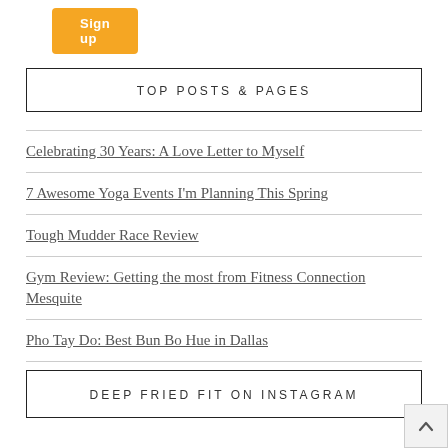[Figure (other): Orange 'Sign up' button]
TOP POSTS & PAGES
Celebrating 30 Years: A Love Letter to Myself
7 Awesome Yoga Events I'm Planning This Spring
Tough Mudder Race Review
Gym Review: Getting the most from Fitness Connection Mesquite
Pho Tay Do: Best Bun Bo Hue in Dallas
DEEP FRIED FIT ON INSTAGRAM